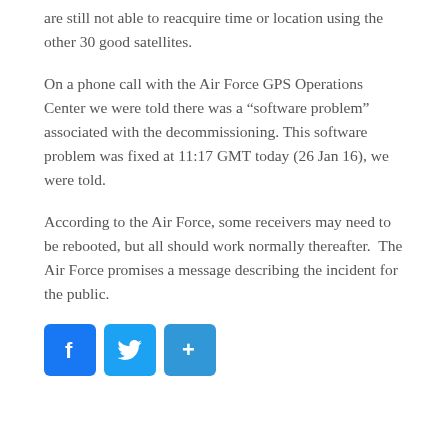are still not able to reacquire time or location using the other 30 good satellites.
On a phone call with the Air Force GPS Operations Center we were told there was a “software problem” associated with the decommissioning. This software problem was fixed at 11:17 GMT today (26 Jan 16), we were told.
According to the Air Force, some receivers may need to be rebooted, but all should work normally thereafter.  The Air Force promises a message describing the incident for the public.
[Figure (other): Social sharing buttons: Facebook, Twitter, and a generic share button]
Recent Posts
Sun to Earth – “You ain’t seen nuthin’ yet.”